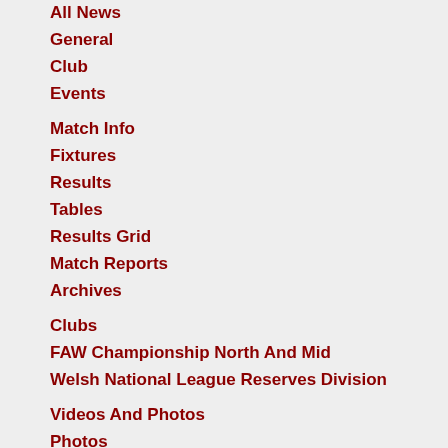All News
General
Club
Events
Match Info
Fixtures
Results
Tables
Results Grid
Match Reports
Archives
Clubs
FAW Championship North And Mid
Welsh National League Reserves Division
Videos And Photos
Photos